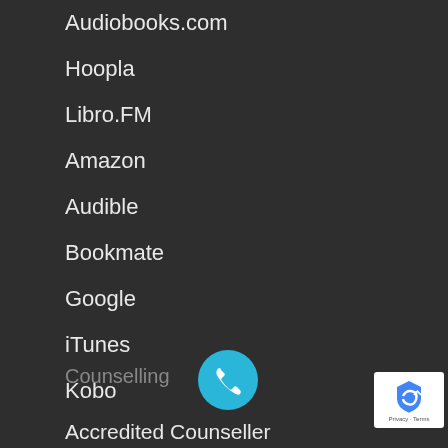Audiobooks.com
Hoopla
Libro.FM
Amazon
Audible
Bookmate
Google
iTunes
Kobo
Counselling
Accredited Counseller
[Figure (other): Blue circular phone/call button icon]
[Figure (other): Google reCAPTCHA badge with Privacy and Terms text]